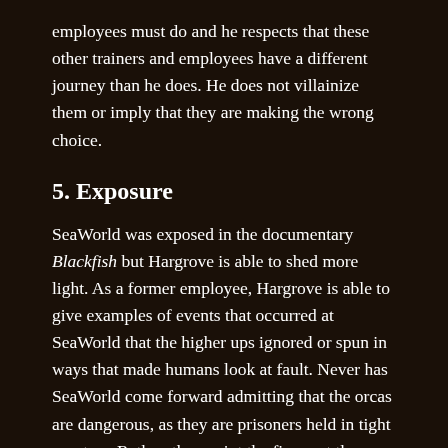employees must do and he respects that these other trainers and employees have a different journey than he does. He does not villainize them or imply that they are making the wrong choice.
5. Exposure
SeaWorld was exposed in the documentary Blackfish but Hargrove is able to shed more light. As a former employee, Hargrove is able to give examples of events that occurred at SeaWorld that the higher ups ignored or spun in ways that made humans look at fault. Never has SeaWorld come forward admitting that the orcas are dangerous, as they are prisoners held in tight quarters. Rather, they point the finger at the trainers, “She allowed her hair to touch the water and the killer whale thought it was a new toy.” “He panicked and drowned.” “The trainer missed his mark, didn’t give the right signal” etc. Hargrove is able to give testimony that